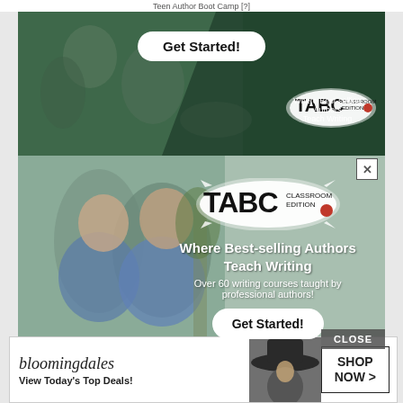Teen Author Boot Camp [?]
[Figure (photo): Top TABC Classroom Edition advertisement showing students at a boot camp, with a 'Get Started!' button and TABC logo. Text: 'Where Best-selling Authors Teach Writing']
[Figure (photo): TABC Classroom Edition popup advertisement showing two girls with backpacks. Text: 'Where Best-selling Authors Teach Writing', 'Over 60 writing courses taught by professional authors!', 'Get Started!' button, and 'CLOSE' button.]
[Figure (photo): Bloomingdale's banner advertisement. Text: 'bloomingdales', 'View Today's Top Deals!', 'SHOP NOW >']